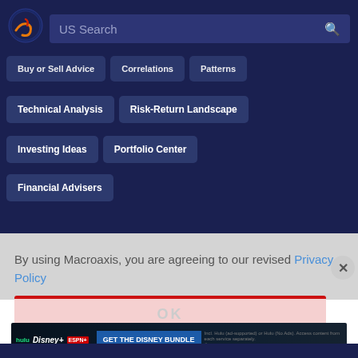[Figure (logo): Macroaxis globe logo — dark blue background with orange and red swirl marks]
US Search
Buy or Sell Advice
Correlations
Patterns
Technical Analysis
Risk-Return Landscape
Investing Ideas
Portfolio Center
Financial Advisers
By using Macroaxis, you are agreeing to our revised Privacy Policy
OK
[Figure (screenshot): Disney Bundle advertisement banner: Hulu, Disney+, ESPN+ logos with 'GET THE DISNEY BUNDLE' call to action and fine print about services]